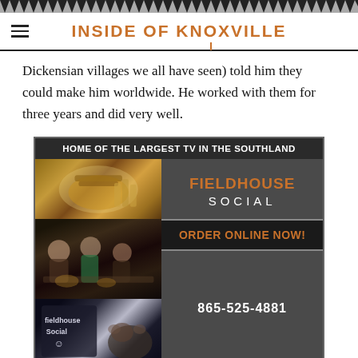INSIDE OF KNOXVILLE
Dickensian villages we all have seen) told him they could make him worldwide. He worked with them for three years and did very well.
[Figure (infographic): Advertisement for Fieldhouse Social restaurant. Header: HOME OF THE LARGEST TV IN THE SOUTHLAND. Left side: photos of food (burger with fries), people dining, and a sign with a dog. Right side: FIELDHOUSE SOCIAL in orange, ORDER ONLINE NOW! in orange, phone number 865-525-4881 in white. Footer: ON THE UT CAMPUS NEXT TO PUBLIX.]